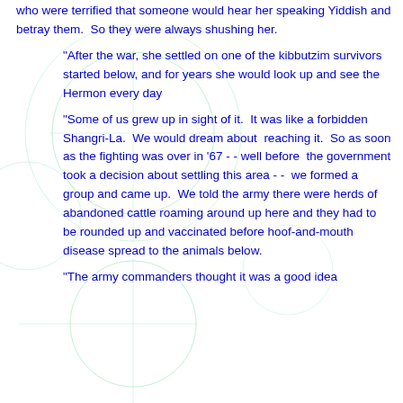who were terrified that someone would hear her speaking Yiddish and betray them.  So they were always shushing her.

“After the war, she settled on one of the kibbutzim survivors started below, and for years she would look up and see the Hermon every day

“Some of us grew up in sight of it.  It was like a forbidden Shangri-La.  We would dream about  reaching it.  So as soon as the fighting was over in ’67 - - well before  the government took a decision about settling this area - -  we formed a group and came up.  We told the army there were herds of abandoned cattle roaming around up here and they had to be rounded up and vaccinated before hoof-and-mouth disease spread to the animals below.

“The army commanders thought it was a good idea